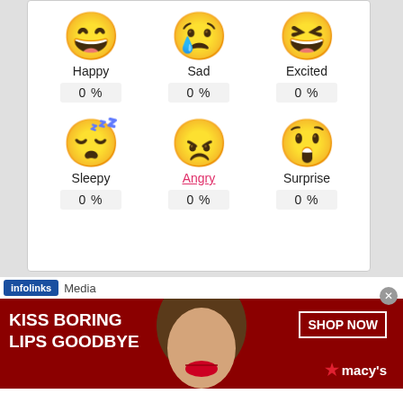[Figure (infographic): Six emoji faces arranged in a 3x2 grid: Happy (laughing), Sad (crying), Excited (laughing with open mouth), Sleepy (sleeping with ZZZ), Angry (red angry face, underlined link), Surprise (shocked face). Each has a label and a percentage box showing 0%.]
infolinks  Media
[Figure (photo): Red Macy's advertisement banner: KISS BORING LIPS GOODBYE with a woman's face showing red lips in the center, SHOP NOW button and Macy's star logo on the right.]